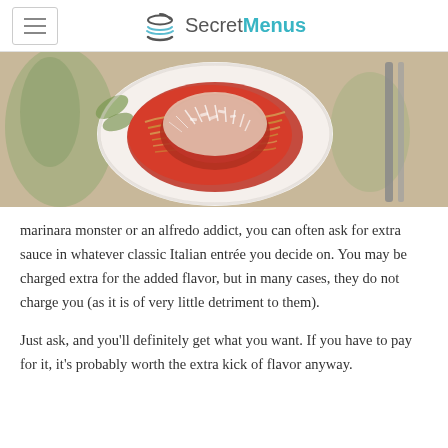SecretMenus
[Figure (photo): A white bowl of spaghetti with marinara sauce and grated parmesan cheese on top, placed on a decorative surface with a fork visible on the right side.]
marinara monster or an alfredo addict, you can often ask for extra sauce in whatever classic Italian entrée you decide on. You may be charged extra for the added flavor, but in many cases, they do not charge you (as it is of very little detriment to them).
Just ask, and you'll definitely get what you want. If you have to pay for it, it's probably worth the extra kick of flavor anyway.